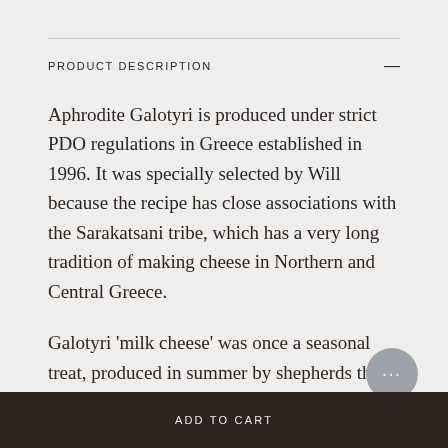PRODUCT DESCRIPTION
Aphrodite Galotyri is produced under strict PDO regulations in Greece established in 1996. It was specially selected by Will because the recipe has close associations with the Sarakatsani tribe, which has a very long tradition of making cheese in Northern and Central Greece.
Galotyri ‘milk cheese’ was once a seasonal treat, produced in summer by shepherds that roamed the hillside pastures of the Epirus and Thessaly regions of ancient Greece. At that time of year, the late-lactation milk they collected from free-ranging flocks of sheep and goats was exceptionally rich in solids. After natur…
ADD TO CART